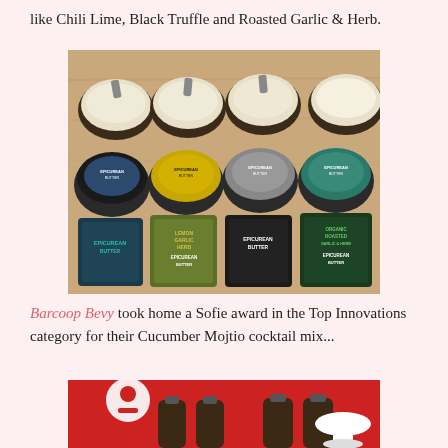like Chili Lime, Black Truffle and Roasted Garlic & Herb.
[Figure (photo): Epicurean Butter product display showing multiple tubs and individual packet servings of various flavors including Lemon Garlic Herb, Salt and Black Pepper, and Organic Roasted Garlic & Herb, arranged on a wooden surface.]
Barcoop Bevy took home a Sofie award in the Top Innovations category for their Cucumber Mojtio cocktail mix...
[Figure (photo): Barcoop Bevy display showing large glass bottles of cocktail mix with a colorful red and white branded backdrop featuring cartoon characters.]